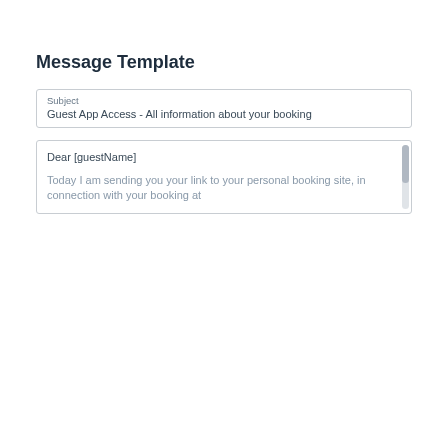Message Template
Subject
Guest App Access - All information about your booking
Dear [guestName]

Today I am sending you your link to your personal booking site, in connection with your booking at